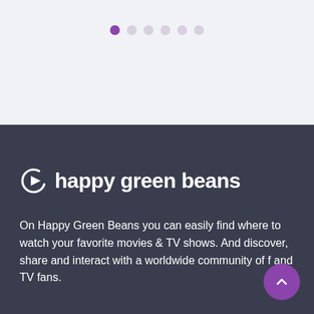[Figure (other): Pagination dots: 6 dots with the first one highlighted in purple, the rest in light grey]
[Figure (logo): Happy Green Beans logo: circular play-button icon followed by the text 'happy green beans' in white bold font]
On Happy Green Beans you can easily find where to watch your favorite movies & TV shows. And discover, share and interact with a worldwide community of f and TV fans.